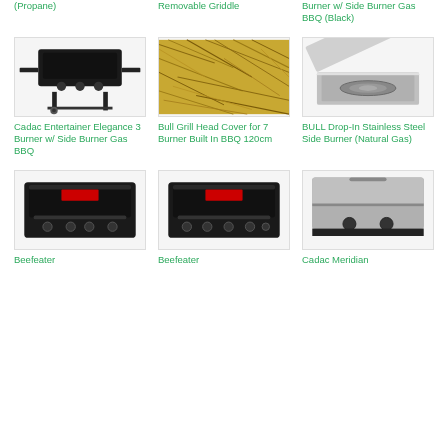(Propane)
Removable Griddle
Burner w/ Side Burner Gas BBQ (Black)
[Figure (photo): Black gas BBQ grill with side burner on wheeled stand - Cadac Entertainer Elegance 3 Burner]
Cadac Entertainer Elegance 3 Burner w/ Side Burner Gas BBQ
[Figure (photo): Close-up of golden straw/hay material - Bull Grill Head Cover for 7 Burner Built In BBQ 120cm]
Bull Grill Head Cover for 7 Burner Built In BBQ 120cm
[Figure (photo): Stainless steel drop-in side burner with open lid - BULL Drop-In Stainless Steel Side Burner (Natural Gas)]
BULL Drop-In Stainless Steel Side Burner (Natural Gas)
[Figure (photo): Black built-in Beefeater BBQ grill with 4 burners - product image]
Beefeater
[Figure (photo): Black built-in Beefeater BBQ grill with 4 burners - product image]
Beefeater
[Figure (photo): Stainless steel built-in Cadac Meridian BBQ grill]
Cadac Meridian